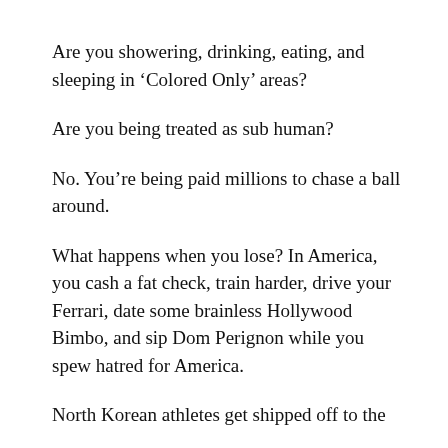Are you showering, drinking, eating, and sleeping in ‘Colored Only’ areas?
Are you being treated as sub human?
No. You’re being paid millions to chase a ball around.
What happens when you lose? In America, you cash a fat check, train harder, drive your Ferrari, date some brainless Hollywood Bimbo, and sip Dom Perignon while you spew hatred for America.
North Korean athletes get shipped off to the